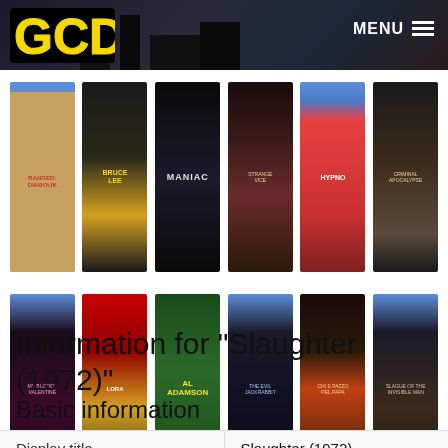GCDb — MENU
[Figure (screenshot): GCDb website header with logo and movie cover grid showing 12 movie thumbnails in 2 rows of 6]
Help
Information for "Slaughter (1972)"
Basic information
| Display title | Slaughter (1972) |
| --- | --- |
| Display title | Slaughter (1972) |